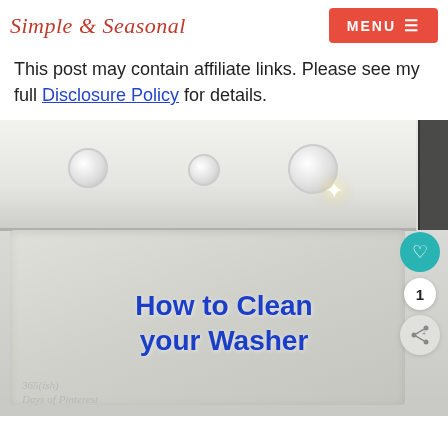Simple & Seasonal | MENU
This post may contain affiliate links. Please see my full Disclosure Policy for details.
[Figure (photo): Top-loading washing machine (Frigidaire) with control panel showing knobs and dials. Text overlay reads 'How to Clean your Washer' in bold blue letters with sparkle effect. Watermark reads '365(ish) Days of Pinterest'.]